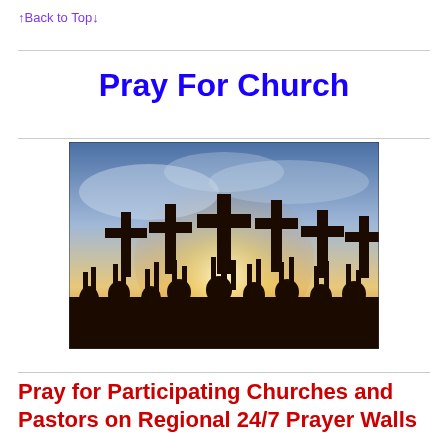↑Back to Top↓
Pray For Church
[Figure (photo): Silhouette of people raising crosses and hands against a dramatic sky with sunlight breaking through clouds, depicting a religious gathering or worship scene.]
Pray for Participating Churches and Pastors on Regional 24/7 Prayer Walls